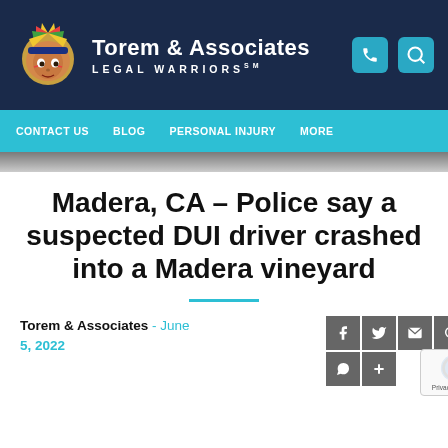Torem & Associates LEGAL WARRIORS
CONTACT US   BLOG   PERSONAL INJURY   MORE
Madera, CA – Police say a suspected DUI driver crashed into a Madera vineyard
Torem & Associates  - June 5, 2022